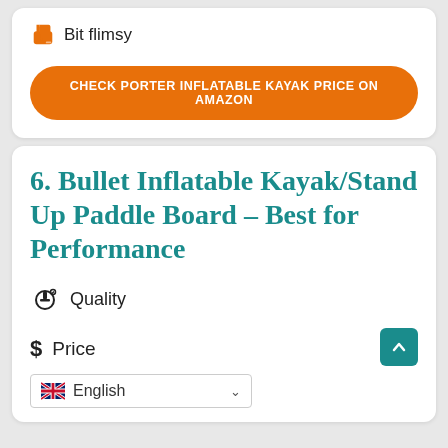Bit flimsy
CHECK PORTER INFLATABLE KAYAK PRICE ON AMAZON
6. Bullet Inflatable Kayak/Stand Up Paddle Board – Best for Performance
Quality
Price